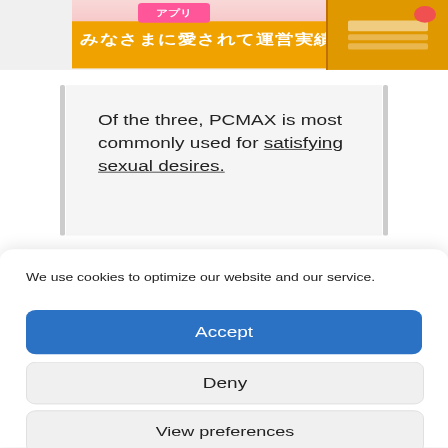[Figure (screenshot): Japanese website banner with pink/orange background, showing アプリ label, Japanese text みなさまに愛されて運営実績18年以上, and a smartphone screenshot on the right]
Of the three, PCMAX is most commonly used for satisfying sexual desires.
We use cookies to optimize our website and our service.
Accept
Deny
View preferences
Cookie Policy   Privacy Policy